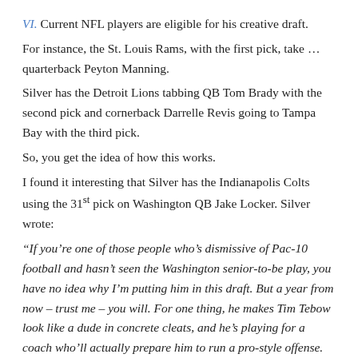VI. Current NFL players are eligible for his creative draft.
For instance, the St. Louis Rams, with the first pick, take … quarterback Peyton Manning.
Silver has the Detroit Lions tabbing QB Tom Brady with the second pick and cornerback Darrelle Revis going to Tampa Bay with the third pick.
So, you get the idea of how this works.
I found it interesting that Silver has the Indianapolis Colts using the 31st pick on Washington QB Jake Locker. Silver wrote:
“If you’re one of those people who’s dismissive of Pac-10 football and hasn’t seen the Washington senior-to-be play, you have no idea why I’m putting him in this draft. But a year from now – trust me – you will. For one thing, he makes Tim Tebow look like a dude in concrete cleats, and he’s playing for a coach who’ll actually prepare him to run a pro-style offense. Bill Polian knows what I mean, and besides, the Rams stole his franchise quarterback 30 picks ago.”
Some think Locker would have been the top quarterback available this year if he’d opted make himself eligible for the draft following his junior year. When all of the so-called draft experts were touting Locker, they were also knocking the other quarterbacks available this year.